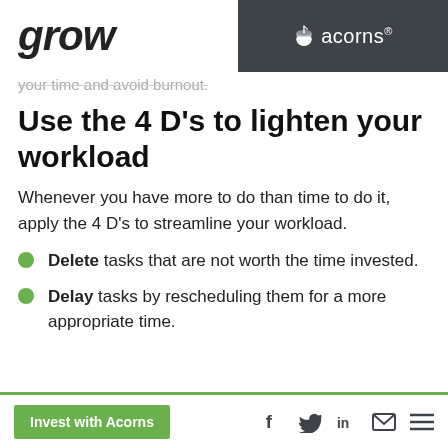grow | acorns®
your time and avoid burnout.
Use the 4 D's to lighten your workload
Whenever you have more to do than time to do it, apply the 4 D's to streamline your workload.
Delete tasks that are not worth the time invested.
Delay tasks by rescheduling them for a more appropriate time.
Invest with Acorns